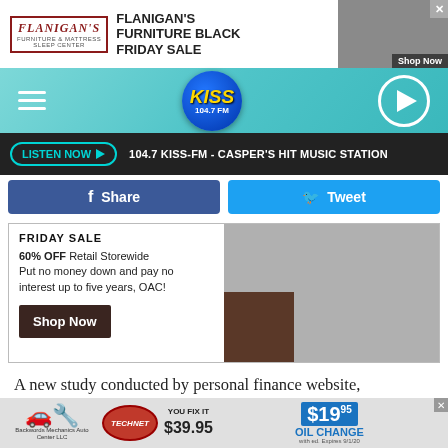[Figure (screenshot): Flanigan's Furniture Black Friday Sale advertisement banner with Shop Now button and bedroom furniture image]
[Figure (logo): KISS 104.7 FM radio station header with hamburger menu, circular KISS logo, and play button on teal background]
LISTEN NOW ▶  104.7 KISS-FM - CASPER'S HIT MUSIC STATION
[Figure (infographic): Facebook Share button (blue) and Twitter Tweet button (light blue)]
[Figure (screenshot): Flanigan's Furniture Friday Sale ad: 60% OFF Retail Storewide. Put no money down and pay no interest up to five years, OAC! Shop Now button with bedroom image]
A new study conducted by personal finance website, WalletHub, lists "2022's Most Fun States in America" and
[Figure (screenshot): Backwords Mechanics Auto Center LLC advertisement: TechNet, YOU FIX IT $39.95, $19.95 OIL CHANGE]